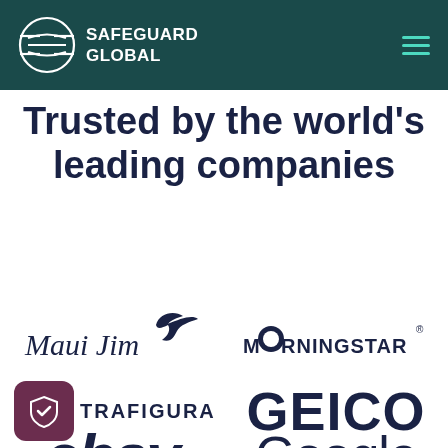[Figure (logo): Safeguard Global logo with circular icon and company name in white on dark teal header background]
Trusted by the world's leading companies
[Figure (logo): eBay logo in dark navy bold italic text]
[Figure (logo): Google logo in dark navy text]
[Figure (logo): Maui Jim logo in cursive script with bird illustration]
[Figure (logo): Morningstar logo with stylized M and registered trademark symbol]
[Figure (logo): Shield check icon (purple rounded square) and Trafigura logo partially visible at bottom]
[Figure (logo): GEICO logo in large dark navy bold text partially visible at bottom right]